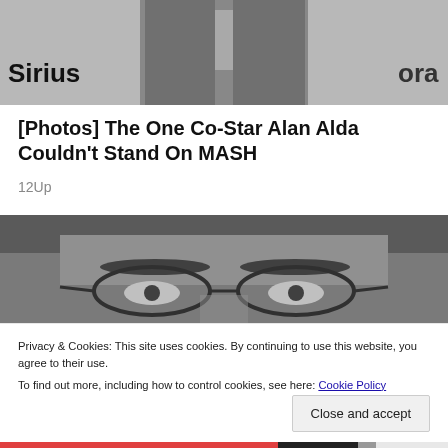[Figure (photo): Photo of a person in a dark blazer against a Sirius XM branded background, partially visible]
[Photos] The One Co-Star Alan Alda Couldn't Stand On MASH
12Up
[Figure (photo): Black and white close-up photo of a person's eyes looking over glasses]
Privacy & Cookies: This site uses cookies. By continuing to use this website, you agree to their use.
To find out more, including how to control cookies, see here: Cookie Policy
Close and accept